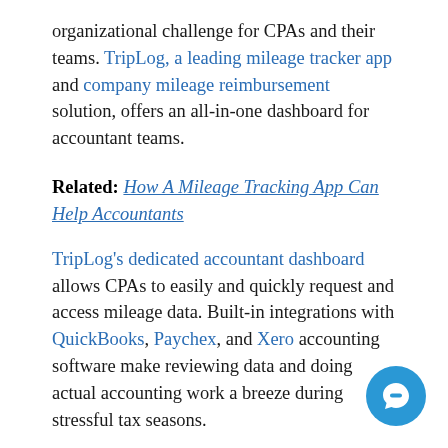organizational challenge for CPAs and their teams. TripLog, a leading mileage tracker app and company mileage reimbursement solution, offers an all-in-one dashboard for accountant teams.
Related: How A Mileage Tracking App Can Help Accountants
TripLog's dedicated accountant dashboard allows CPAs to easily and quickly request and access mileage data. Built-in integrations with QuickBooks, Paychex, and Xero accounting software make reviewing data and doing actual accounting work a breeze during stressful tax seasons.